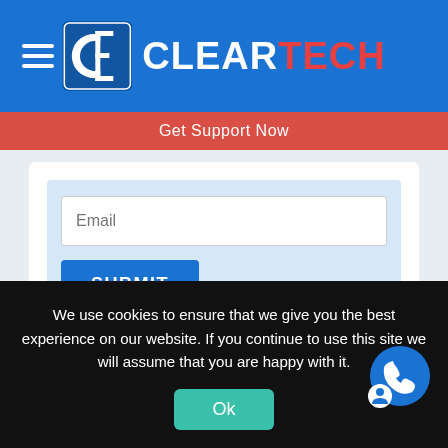[Figure (logo): ClearTech logo with hamburger menu icon on blue header bar]
Get Support Now
[Figure (screenshot): Email input field with placeholder text 'Email' and a blue SUBMIT button on a light blue card background]
We use cookies to ensure that we give you the best experience on our website. If you continue to use this site we will assume that you are happy with it.
[Figure (other): Green 'Ok' button for cookie consent and blue phone/chat icon in bottom right corner]